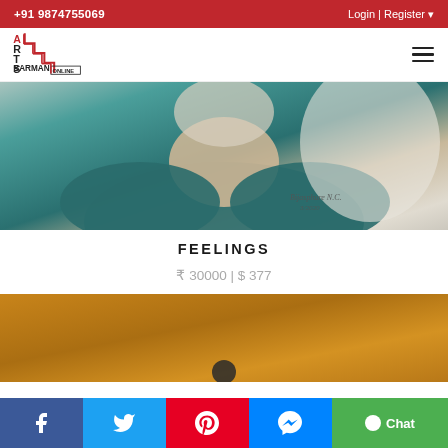+91 9874755069    Login | Register
[Figure (logo): Arts Barman Online logo — staircase design in red and black with letters A R T S stacked on left side and BARMAN ONLINE text below]
[Figure (photo): Close-up painting of a person wearing a teal/dark blue top, showing neck and shoulder area, with a soft impressionistic background. Artist signature reads 'Bijasphure N.C.' with date.]
FEELINGS
₹ 30000 | $ 377
[Figure (photo): Partial view of a painting with warm golden-brown/ochre background, partly obscured by social bar.]
f  (Twitter bird)  (Pinterest)  (Messenger)  Chat